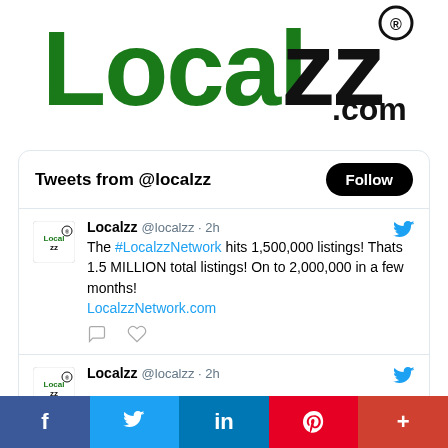[Figure (logo): Localzz.com logo with green and black lettering and registered trademark symbol]
Tweets from @localzz
Follow
Localzz @localzz · 2h
The #LocalzzNetwork hits 1,500,000 listings! Thats 1.5 MILLION total listings! On to 2,000,000 in a few months! LocalzzNetwork.com
Localzz @localzz · 2h